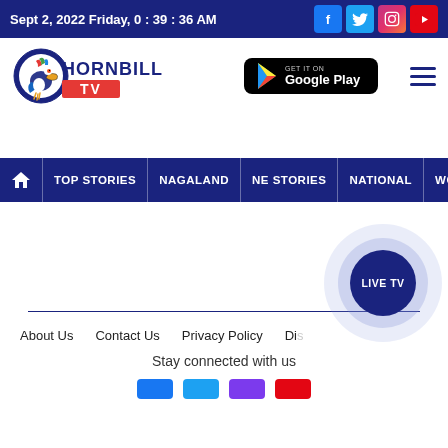Sept 2, 2022 Friday, 0 : 39 : 36 AM
[Figure (logo): Hornbill TV logo with toucan bird]
[Figure (screenshot): GET IT ON Google Play badge]
TOP STORIES | NAGALAND | NE STORIES | NATIONAL | WORLD
About Us   Contact Us   Privacy Policy   Di...
Stay connected with us
[Figure (other): LIVE TV circular button]
[Figure (other): Social media icons: Facebook, Twitter, Instagram, YouTube]